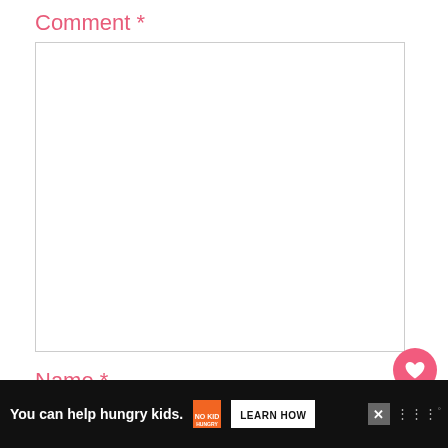Comment *
[Figure (screenshot): Empty comment text area input field with light gray border]
Name *
[Figure (screenshot): Empty name text input field with light gray border]
[Figure (infographic): Floating action buttons: pink heart button, dark navy count badge showing 1, dark navy share button with share icon]
[Figure (infographic): Black advertisement bar at bottom: 'You can help hungry kids.' with No Kid Hungry logo and LEARN HOW button, X close button, and W logo at right]